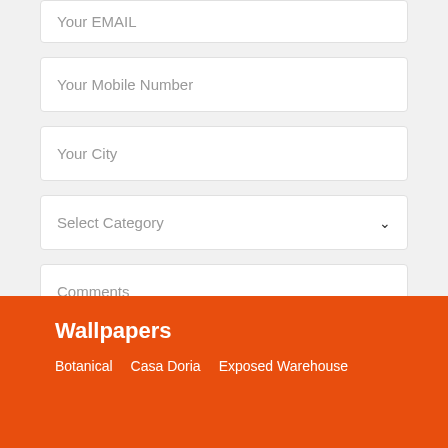Your EMAIL
Your Mobile Number
Your City
Select Category
Comments
SEND
Wallpapers
Botanical   Casa Doria   Exposed Warehouse